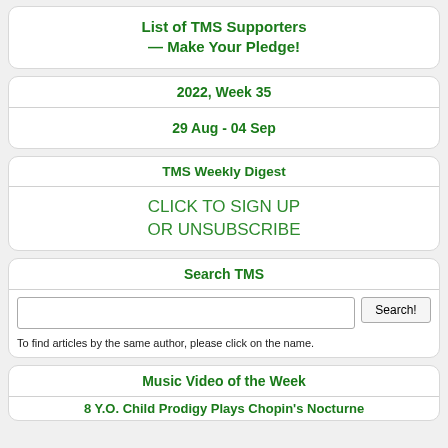List of TMS Supporters — Make Your Pledge!
2022, Week 35
29 Aug - 04 Sep
TMS Weekly Digest
CLICK TO SIGN UP OR UNSUBSCRIBE
Search TMS
To find articles by the same author, please click on the name.
Music Video of the Week
8 Y.O. Child Prodigy Plays Chopin's Nocturne